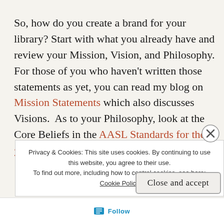So, how do you create a brand for your library? Start with what you already have and review your Mission, Vision, and Philosophy. For those of you who haven't written those statements as yet, you can read my blog on Mission Statements which also discusses Visions.  As to your Philosophy, look at the Core Beliefs in the AASL Standards for the 21st-century Learner for ideas.
Privacy & Cookies: This site uses cookies. By continuing to use this website, you agree to their use. To find out more, including how to control cookies, see here: Cookie Policy
Close and accept